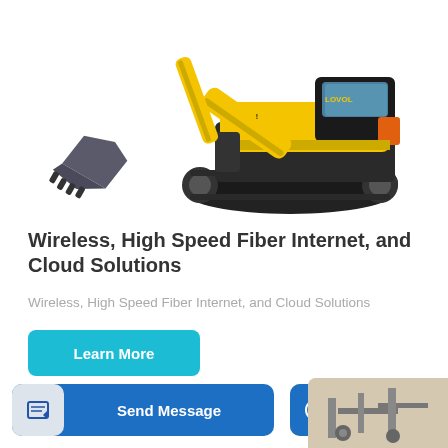[Figure (photo): Yellow Lovol excavator/digger on white background, showing full side view with raised boom arm and bucket]
Wireless, High Speed Fiber Internet, and Cloud Solutions
Wireless, High Speed Fiber Internet, and Cloud Solutions
Learn More
Send Message
Inquiry Online
[Figure (photo): Partial image of industrial equipment at bottom right]